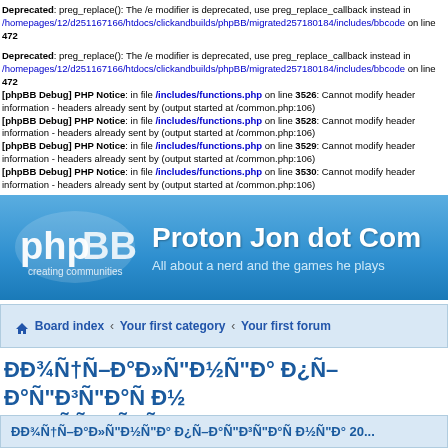Deprecated: preg_replace(): The /e modifier is deprecated, use preg_replace_callback instead in /homepages/12/d251167166/htdocs/clickandbuilds/phpBB/migrated257180184/includes/bbcode on line 472
Deprecated: preg_replace(): The /e modifier is deprecated, use preg_replace_callback instead in /homepages/12/d251167166/htdocs/clickandbuilds/phpBB/migrated257180184/includes/bbcode on line 472
[phpBB Debug] PHP Notice: in file /includes/functions.php on line 3526: Cannot modify header information - headers already sent by (output started at /common.php:106)
[phpBB Debug] PHP Notice: in file /includes/functions.php on line 3528: Cannot modify header information - headers already sent by (output started at /common.php:106)
[phpBB Debug] PHP Notice: in file /includes/functions.php on line 3529: Cannot modify header information - headers already sent by (output started at /common.php:106)
[phpBB Debug] PHP Notice: in file /includes/functions.php on line 3530: Cannot modify header information - headers already sent by (output started at /common.php:106)
[Figure (logo): phpBB logo with text 'creating communities']
Proton Jon dot Com
All about a nerd and the games he plays
Board index ‹ Your first category ‹ Your first forum
Добавить видео в заголовок
POST REPLY
Search this topicâ¦
Добавить видео в заголовок 201...